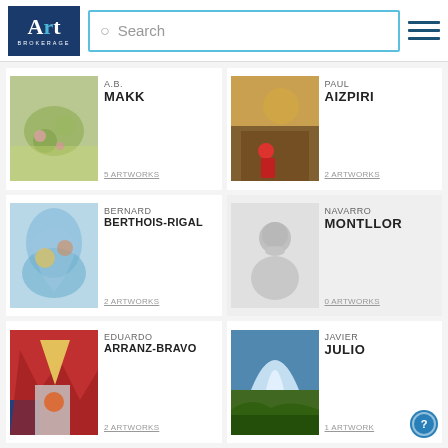[Figure (logo): Art Brokerage logo — dark blue box with 'Art' in serif white text and 'BROKERAGE' in small caps below]
Search
A.B. MAKK — 5 ARTWORKS
PAUL AIZPIRI — 2 ARTWORKS
BERNARD BERTHOIS-RIGAL — 2 ARTWORKS
NAVARRO MONTLLOR — 0 ARTWORKS
EDUARDO ARRANZ-BRAVO — 2 ARTWORKS
JAVIER JULIO — 1 ARTWORK